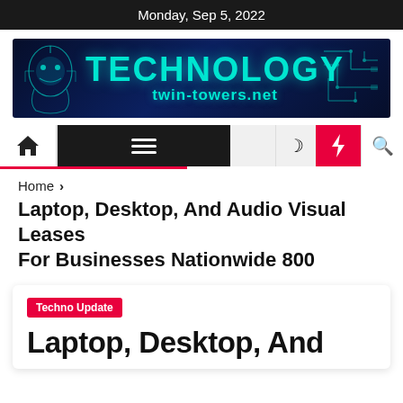Monday, Sep 5, 2022
[Figure (logo): TECHNOLOGY twin-towers.net banner logo with cyan glowing text and circuit-board head silhouette on dark blue background]
[Figure (infographic): Navigation bar with home icon, hamburger menu, moon icon, red lightning bolt, and search icon]
Home > Laptop, Desktop, And Audio Visual Leases For Businesses Nationwide 800
Laptop, Desktop, And Audio Visual Leases For Businesses Nationwide 800
Techno Update
Laptop, Desktop, And...